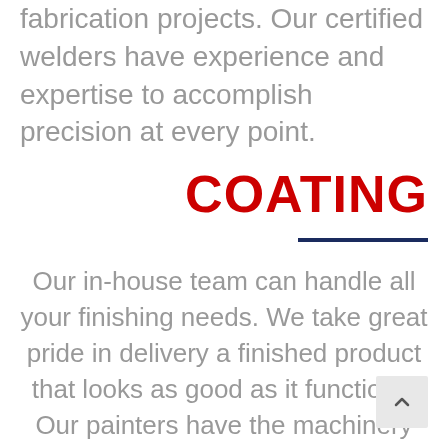fabrication projects. Our certified welders have experience and expertise to accomplish precision at every point.
COATING
Our in-house team can handle all your finishing needs. We take great pride in delivery a finished product that looks as good as it functions. Our painters have the machinery and equipment to provide you with an excellent, long-lasting